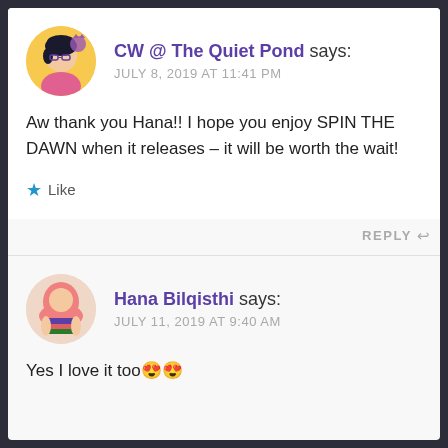CW @ The Quiet Pond says: JULY 8, 2019 AT 11:41 PM
Aw thank you Hana!! I hope you enjoy SPIN THE DAWN when it releases – it will be worth the wait!
Like
REPLY
Hana Bilqisthi says: JULY 11, 2019 AT 9:40 AM
Yes I love it too 😍😍